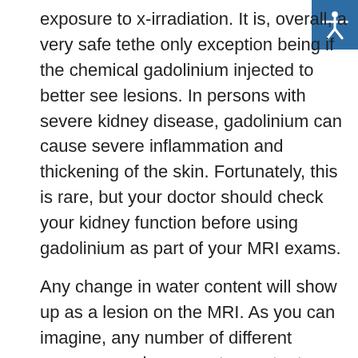exposure to x-irradiation. It is, overall, a very safe technique, the only exception being if the chemical gadolinium is injected to better see lesions. In persons with severe kidney disease, gadolinium can cause severe inflammation and thickening of the skin. Fortunately, this is rare, but your doctor should check your kidney function before using gadolinium as part of your MRI exams.
Any change in water content will show up as a lesion on the MRI. As you can imagine, any number of different causes can change water content. These range from infections, to trauma, to tumors, to strokes, and of course, inflammation, such as seen in MS. Thus, changes on brain MRIs are relatively non-specific. That said, however, in the late 20th century as use of MRIs became more frequent, it became apparent that different diseases had distinct patterns